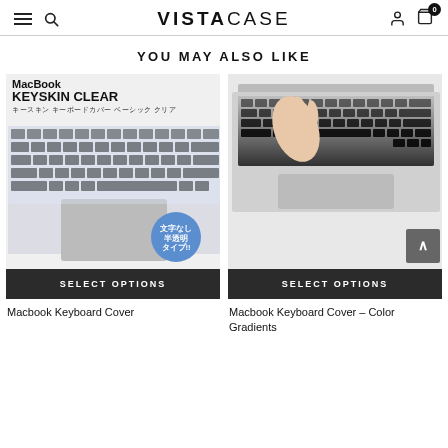VISTACASE
YOU MAY ALSO LIKE
[Figure (photo): MacBook KEYSKIN CLEAR keyboard cover product image with Japanese text badge]
SELECT OPTIONS
Macbook Keyboard Cover
[Figure (photo): Macbook keyboard cover color gradients being applied to MacBook keyboard]
SELECT OPTIONS
Macbook Keyboard Cover – Color Gradients